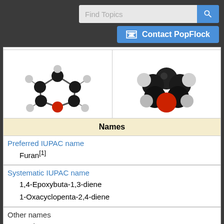[Figure (screenshot): Search bar with 'Find Topics' placeholder and blue search button, plus 'Contact PopFlock' blue button with envelope icon]
[Figure (illustration): Ball-and-stick model of furan molecule showing black carbon atoms, white hydrogen atoms, and red oxygen atom in a ring structure]
[Figure (illustration): Space-filling model of furan molecule showing black carbon atoms, white hydrogen atoms, and red oxygen atom in a compact ring structure]
| Names |
| Preferred IUPAC name | Furan[1] |
| Systematic IUPAC name | 1,4-Epoxybuta-1,3-diene
1-Oxacyclopenta-2,4-diene |
| Other names | Oxole
Oxa[5]annulene |